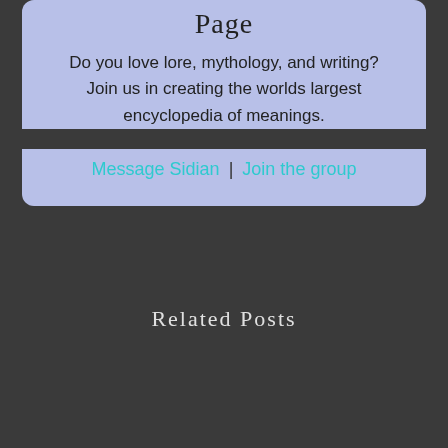Page
Do you love lore, mythology, and writing? Join us in creating the worlds largest encyclopedia of meanings.
Message Sidian | Join the group
Related Posts